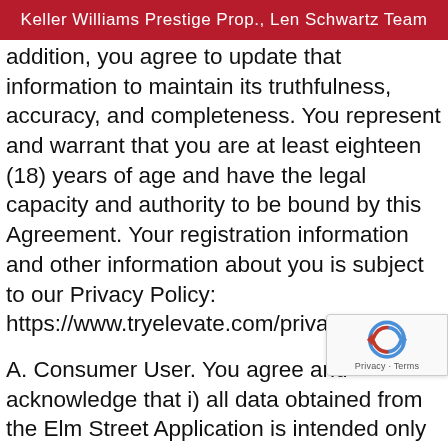Keller Williams Prestige Prop., Len Schwartz Team
addition, you agree to update that information to maintain its truthfulness, accuracy, and completeness. You represent and warrant that you are at least eighteen (18) years of age and have the legal capacity and authority to be bound by this Agreement. Your registration information and other information about you is subject to our Privacy Policy: https://www.tryelevate.com/privacy/.
A. Consumer User. You agree and acknowledge that i) all data obtained from the Elm Street Application is intended only for your personal, non-commercial use; ii) you will not copy, redistribute, or ret any of the data or information provided on Street Application; iii) the Multiple Listing Service